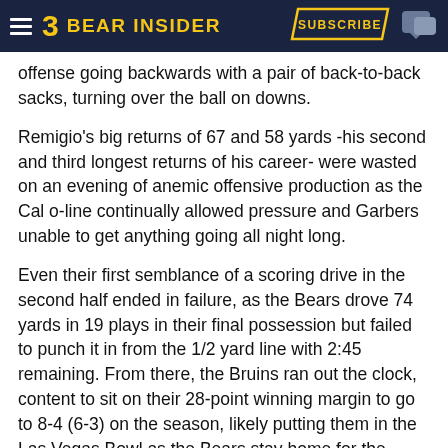BEAR INSIDER — SUBSCRIBE
offense going backwards with a pair of back-to-back sacks, turning over the ball on downs.
Remigio's big returns of 67 and 58 yards -his second and third longest returns of his career- were wasted on an evening of anemic offensive production as the Cal o-line continually allowed pressure and Garbers unable to get anything going all night long.
Even their first semblance of a scoring drive in the second half ended in failure, as the Bears drove 74 yards in 19 plays in their final possession but failed to punch it in from the 1/2 yard line with 2:45 remaining. From there, the Bruins ran out the clock, content to sit on their 28-point winning margin to go to 8-4 (6-3) on the season, likely putting them in the Las Vegas Bowl as the Bears stay home for the second straight disappointing season.
Thompson-Robinson had a solid passing game, going 19-